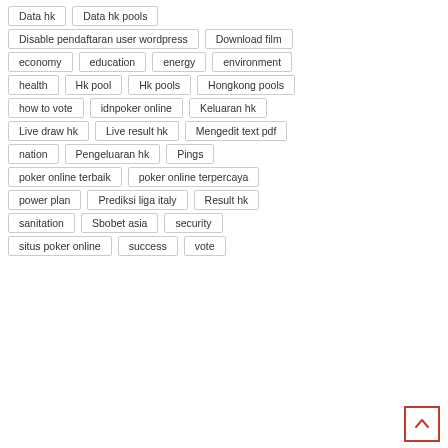Data hk
Data hk pools
Disable pendaftaran user wordpress
Download film
economy
education
energy
environment
health
Hk pool
Hk pools
Hongkong pools
how to vote
idnpoker online
Keluaran hk
Live draw hk
Live result hk
Mengedit text pdf
nation
Pengeluaran hk
Pings
poker online terbaik
poker online terpercaya
power plan
Prediksi liga italy
Result hk
sanitation
Sbobet asia
security
situs poker online
success
vote